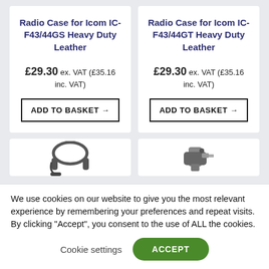Radio Case for Icom IC-F43/44GS Heavy Duty Leather
£29.30 ex. VAT (£35.16 inc. VAT)
ADD TO BASKET →
Radio Case for Icom IC-F43/44GT Heavy Duty Leather
£29.30 ex. VAT (£35.16 inc. VAT)
ADD TO BASKET →
[Figure (photo): Partial view of radio headphone/earpiece accessory]
[Figure (photo): Partial view of radio speaker/mic accessory]
We use cookies on our website to give you the most relevant experience by remembering your preferences and repeat visits. By clicking "Accept", you consent to the use of ALL the cookies.
Cookie settings
ACCEPT